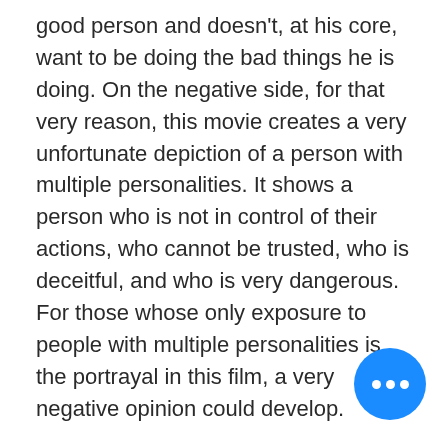good person and doesn't, at his core, want to be doing the bad things he is doing. On the negative side, for that very reason, this movie creates a very unfortunate depiction of a person with multiple personalities. It shows a person who is not in control of their actions, who cannot be trusted, who is deceitful, and who is very dangerous. For those whose only exposure to people with multiple personalities is the portrayal in this film, a very negative opinion could develop.
On a more productive note, the Netflix movie To the Bone demonstrates that movies about mental health can be made in a way that serves to promote understanding and perhaps empathy. This movie features a young girl, Ellen,